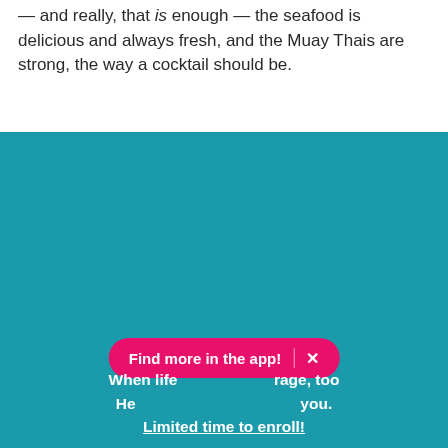— and really, that is enough — the seafood is delicious and always fresh, and the Muay Thais are strong, the way a cocktail should be.
[Figure (other): Teal/blue-green background section with promotional text overlay and a pink pill-shaped 'Find more in the app!' banner with an X close button. Text reads: 'When life [obscured] rage, too He[alth?] [obscured] you. Limited time to enroll!']